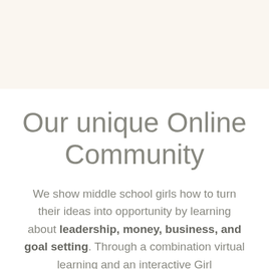Our unique Online Community
We show middle school girls how to turn their ideas into opportunity by learning about leadership, money, business, and goal setting. Through a combination virtual learning and an interactive Girl